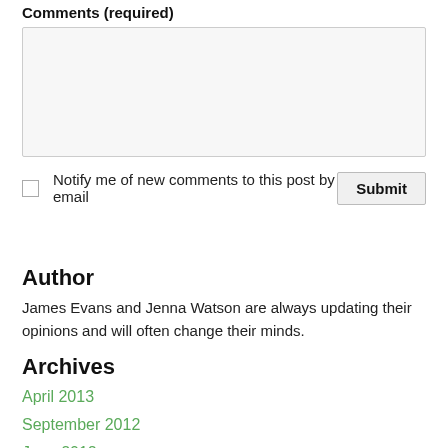Comments (required)
Notify me of new comments to this post by email
Author
James Evans and Jenna Watson are always updating their opinions and will often change their minds.
Archives
April 2013
September 2012
June 2012